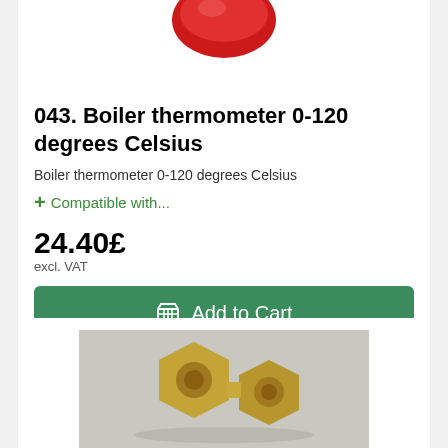[Figure (photo): Partial view of a red boiler thermometer product image, cropped at top]
043. Boiler thermometer 0-120 degrees Celsius
Boiler thermometer 0-120 degrees Celsius
+ Compatible with...
24.40£ excl. VAT
Add to Cart
[Figure (photo): Brass pipe fittings/connectors product photo on grey background]